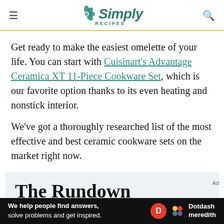Simply Recipes
Get ready to make the easiest omelette of your life. You can start with Cuisinart's Advantage Ceramica XT 11-Piece Cookware Set, which is our favorite option thanks to its even heating and nonstick interior.
We've got a thoroughly researched list of the most effective and best ceramic cookware sets on the market right now.
The Rundown
[Figure (screenshot): Dotdash Meredith advertisement bar at bottom: 'We help people find answers, solve problems and get inspired.' with Dotdash Meredith logo]